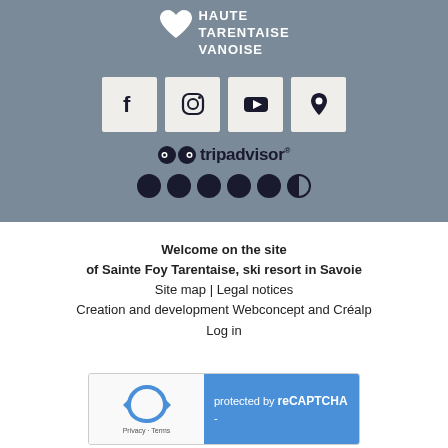[Figure (logo): Haute Tarentaise Vanoise logo with heart shape and white text on grey background]
[Figure (infographic): Row of four social media icon boxes: Facebook, Instagram, YouTube, and map pin/location icon]
[Figure (infographic): TripAdvisor logo with owl icons and 4.5 star rating dots]
Welcome on the site
of Sainte Foy Tarentaise, ski resort in Savoie
Site map | Legal notices
Creation and development Webconcept and Créalp
Log in
[Figure (screenshot): reCAPTCHA widget showing recycle/robot icon on left with Privacy and Terms text, and blue panel on right with text 'protected by reCAPTCHA' and a dash]